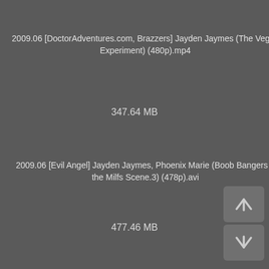2009.06 [DoctorAdventures.com, Brazzers] Jayden Jaymes (The Vegas Experiment) (480p).mp4
347.64 MB
2009.06 [Evil Angel] Jayden Jaymes, Phoenix Marie (Boob Bangers 6 the Milfs Scene.3) (478p).avi
477.46 MB
2009.06 [GirlfriendHandjobs.com] Jayden James, Cayden Moore (480p).mpg
227.70 MB